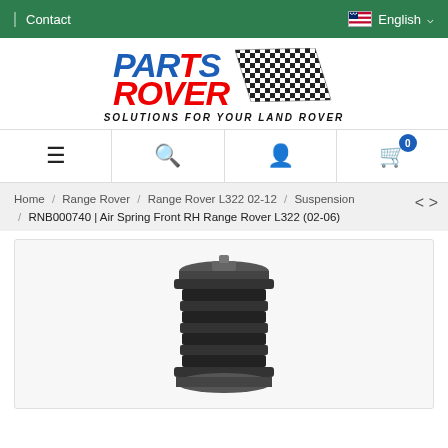Contact | English
[Figure (logo): Parts Rover logo with checkered flag and tagline SOLUTIONS FOR YOUR LAND ROVER]
Navigation bar with menu, search, account, and cart icons
Home / Range Rover / Range Rover L322 02-12 / Suspension / RNB000740 | Air Spring Front RH Range Rover L322 (02-06)
[Figure (photo): Air spring / air suspension component for Range Rover L322, black rubber bellows with metal fittings]